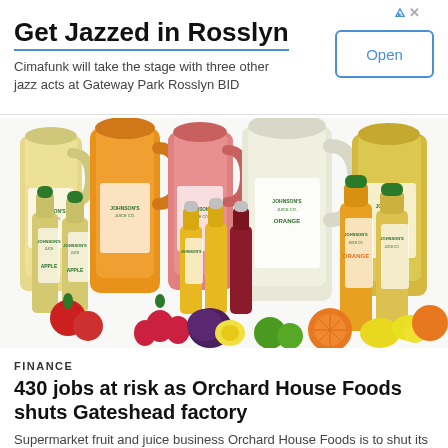[Figure (infographic): Advertisement banner: 'Get Jazzed in Rosslyn' with subtitle 'Cimafunk will take the stage with three other jazz acts at Gateway Park Rosslyn BID' and an 'Open' button]
[Figure (photo): Product photo showing multiple bottles and jugs of Johnson's Juice Co. fruit juices and drinks in various sizes, arranged together with fresh fruits including oranges, strawberries, lemons, and limes in the foreground. Bottles have green caps and yellow/orange labels.]
FINANCE
430 jobs at risk as Orchard House Foods shuts Gateshead factory
Supermarket fruit and juice business Orchard House Foods is to shut its Gateshead factory, with the loss of up to 430 jobs.The company,...